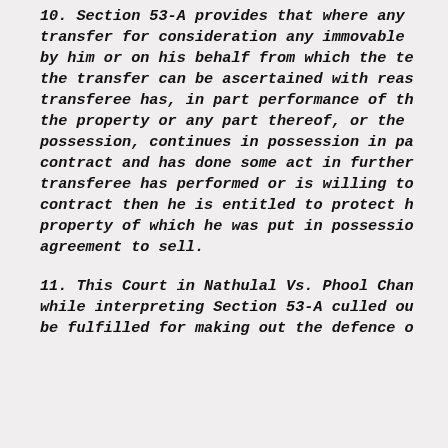10. Section 53-A provides that where any transfer for consideration any immovable by him or on his behalf from which the te the transfer can be ascertained with reas transferee has, in part performance of th the property or any part thereof, or the possession, continues in possession in pa contract and has done some act in further transferee has performed or is willing to contract then he is entitled to protect h property of which he was put in possessio agreement to sell.
11. This Court in Nathulal Vs. Phool Chan while interpreting Section 53-A culled ou be fulfilled for making out the defence o